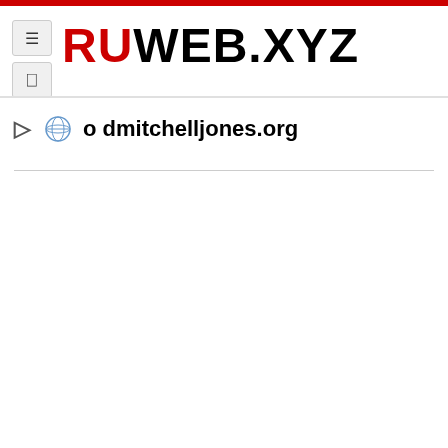RUWEB.XYZ
○ о dmitchelljones.org